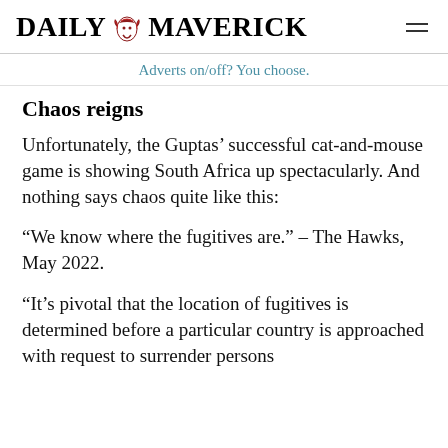DAILY MAVERICK
Adverts on/off? You choose.
Chaos reigns
Unfortunately, the Guptas’ successful cat-and-mouse game is showing South Africa up spectacularly. And nothing says chaos quite like this:
“We know where the fugitives are.” – The Hawks, May 2022.
“It’s pivotal that the location of fugitives is determined before a particular country is approached with request to surrender persons —” – The National Prosecution Authority,